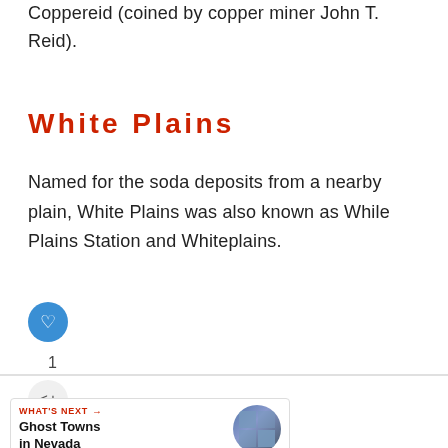Coppereid (coined by copper miner John T. Reid).
White Plains
Named for the soda deposits from a nearby plain, White Plains was also known as While Plains Station and Whiteplains.
WHAT'S NEXT → Ghost Towns in Nevada